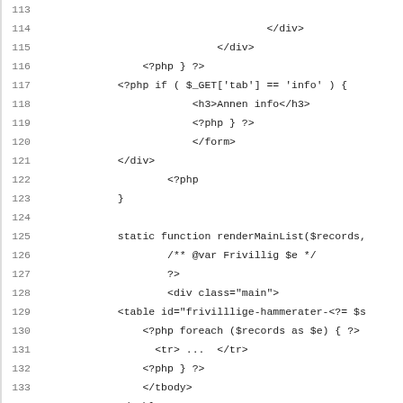[Figure (screenshot): Source code listing showing PHP and HTML mixed code, lines 113-135, with line numbers on the left and code content on the right in monospace font.]